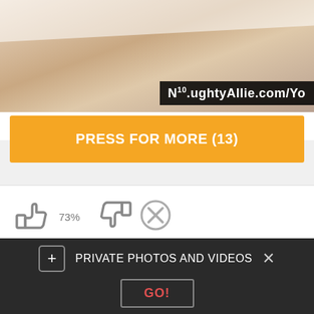[Figure (photo): Partial view of a photo with a watermark overlay reading N10.ughtyAllie.com/Yo]
PRESS FOR MORE (13)
[Figure (infographic): Rating icons: thumbs up, thumbs down, X circle with 73% rating label]
Comments (5)
Licausi - 19 July 18:37
Her propername is Manuela. Gangbang was inwards Dortmund, I believe. Website is gangbangparty registered inward Germany. Only
PRIVATE PHOTOS AND VIDEOS
GO!